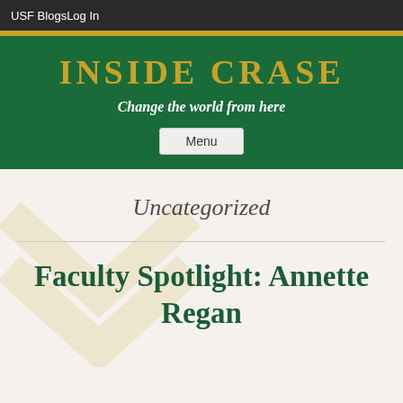USF BlogsLog In
INSIDE CRASE
Change the world from here
Menu
Uncategorized
Faculty Spotlight: Annette Regan